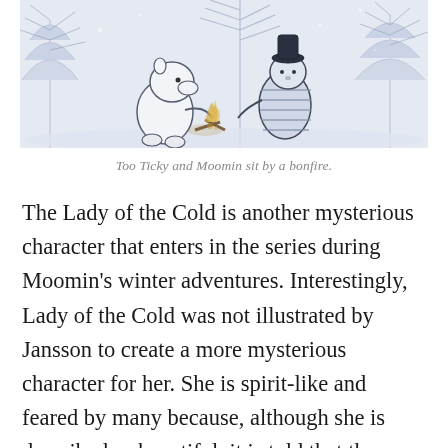[Figure (illustration): Black and white illustration of Too Ticky and Moomin sitting by a bonfire in a winter forest scene with trees in the background.]
Too Ticky and Moomin sit by a bonfire.
The Lady of the Cold is another mysterious character that enters in the series during Moomin's winter adventures. Interestingly, Lady of the Cold was not illustrated by Jansson to create a more mysterious character for her. She is spirit-like and feared by many because, although she is described as beautiful, it is told that those who look at her in the eye become pillars of ice. Perhaps, the Lady of the Cold speaks to northern Finland's icy temperatures.